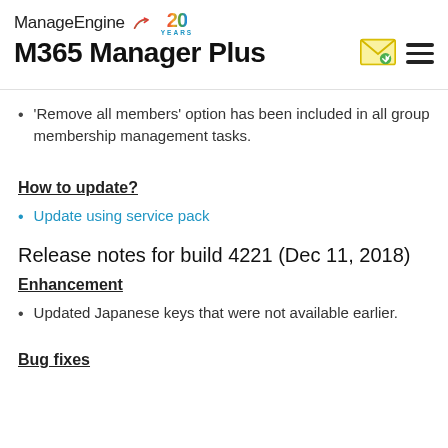ManageEngine 20 YEARS M365 Manager Plus
'Remove all members' option has been included in all group membership management tasks.
How to update?
Update using service pack
Release notes for build 4221 (Dec 11, 2018)
Enhancement
Updated Japanese keys that were not available earlier.
Bug fixes